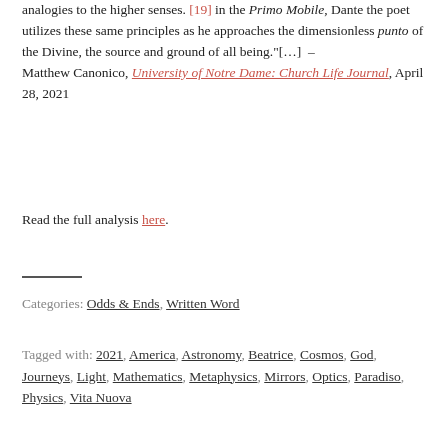analogies to the higher senses. [19] in the Primo Mobile, Dante the poet utilizes these same principles as he approaches the dimensionless punto of the Divine, the source and ground of all being."[…] – Matthew Canonico, University of Notre Dame: Church Life Journal, April 28, 2021
Read the full analysis here.
Categories: Odds & Ends, Written Word
Tagged with: 2021, America, Astronomy, Beatrice, Cosmos, God, Journeys, Light, Mathematics, Metaphysics, Mirrors, Optics, Paradiso, Physics, Vita Nuova